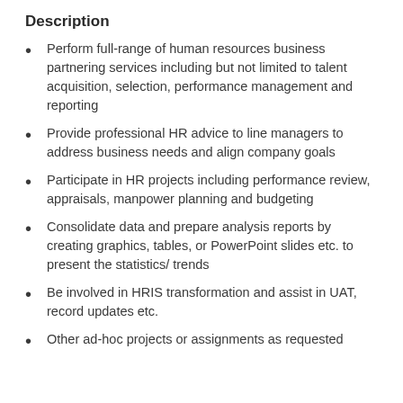Description
Perform full-range of human resources business partnering services including but not limited to talent acquisition, selection, performance management and reporting
Provide professional HR advice to line managers to address business needs and align company goals
Participate in HR projects including performance review, appraisals, manpower planning and budgeting
Consolidate data and prepare analysis reports by creating graphics, tables, or PowerPoint slides etc. to present the statistics/ trends
Be involved in HRIS transformation and assist in UAT, record updates etc.
Other ad-hoc projects or assignments as requested